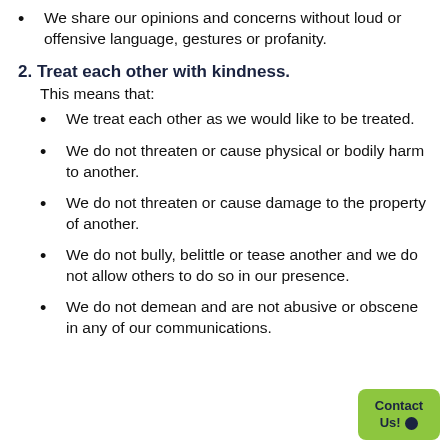We share our opinions and concerns without loud or offensive language, gestures or profanity.
2. Treat each other with kindness.
This means that:
We treat each other as we would like to be treated.
We do not threaten or cause physical or bodily harm to another.
We do not threaten or cause damage to the property of another.
We do not bully, belittle or tease another and we do not allow others to do so in our presence.
We do not demean and are not abusive or obscene in any of our communications.